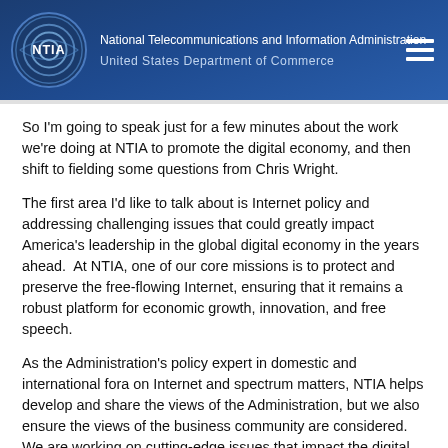National Telecommunications and Information Administration
United States Department of Commerce
So I'm going to speak just for a few minutes about the work we're doing at NTIA to promote the digital economy, and then shift to fielding some questions from Chris Wright.
The first area I'd like to talk about is Internet policy and addressing challenging issues that could greatly impact America's leadership in the global digital economy in the years ahead.  At NTIA, one of our core missions is to protect and preserve the free-flowing Internet, ensuring that it remains a robust platform for economic growth, innovation, and free speech.
As the Administration's policy expert in domestic and international fora on Internet and spectrum matters, NTIA helps develop and share the views of the Administration, but we also ensure the views of the business community are considered.  We are working on cutting-edge issues that impact the digital economy – including cybersecurity, privacy, Internet governance, and broadband deployment.  Much of the policy work we do is interagency.  We try to represent the